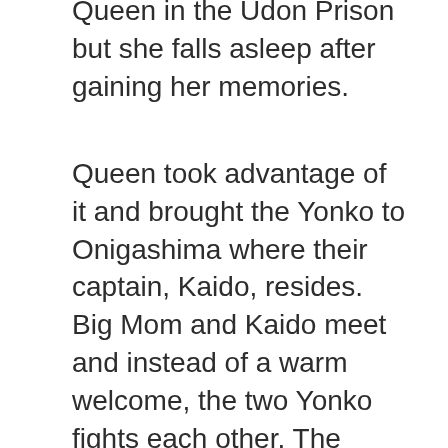Queen in the Udon Prison but she falls asleep after gaining her memories.
Queen took advantage of it and brought the Yonko to Onigashima where their captain, Kaido, resides. Big Mom and Kaido meet and instead of a warm welcome, the two Yonko fights each other. The battle between the two Yonko continues but an unexpected turn of events happened in Chapter 954 when they announced the Beasts Pirates and Big Mom Pirates alliance.